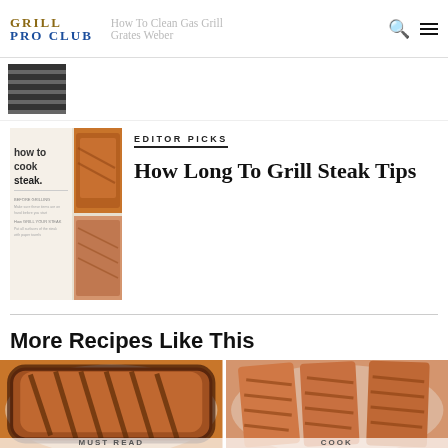GRILL PRO CLUB | How To Clean Gas Grill Grates Weber
[Figure (photo): Thumbnail of grill grates, partially visible at top left]
EDITOR PICKS
[Figure (photo): Composite thumbnail showing 'how to cook steak.' book/magazine cover with steak images]
How Long To Grill Steak Tips
More Recipes Like This
[Figure (photo): Grilled marinated meat on a white plate with grill marks]
[Figure (photo): Grilled salmon fillets on a white plate with grill marks]
MUST READ
COOK